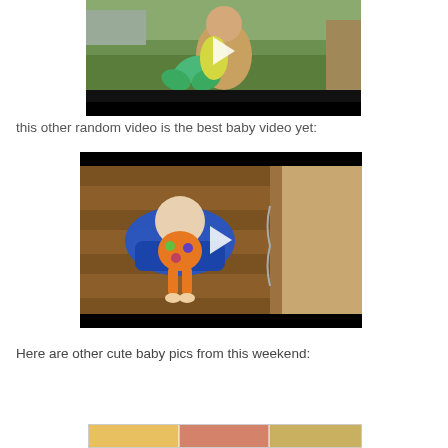[Figure (screenshot): Video thumbnail showing a baby outdoors with a green balloon animal toy, on grass. Has a play button overlay and black bar at bottom.]
this other random video is the best baby video yet:
[Figure (screenshot): Video thumbnail showing a baby in a colorful jumper/walker device on a wood floor near a door. Has black bars at top and bottom and a play button overlay.]
Here are other cute baby pics from this weekend:
[Figure (screenshot): Partial thumbnail strip showing cute baby photos from the weekend.]